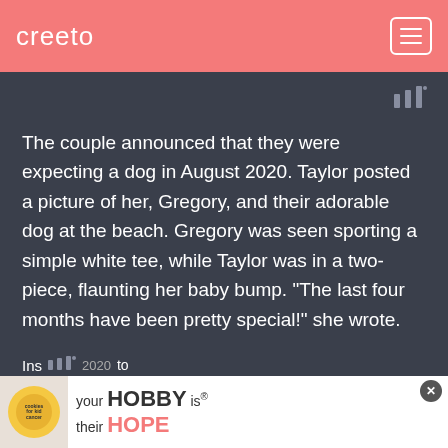creeto
The couple announced that they were expecting a dog in August 2020. Taylor posted a picture of her, Gregory, and their adorable dog at the beach. Gregory was seen sporting a simple white tee, while Taylor was in a two-piece, flaunting her baby bump. "The last four months have been pretty special!" she wrote.
Gregory, meanwhile, announced the news on his Ins... 2020 to
[Figure (screenshot): Advertisement banner at bottom showing cookies for kid cancer logo with a yellow heart cookie, and text: your HOBBY is their HOPE]